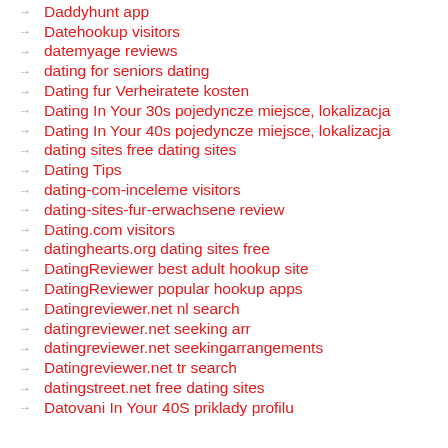Daddyhunt app
Datehookup visitors
datemyage reviews
dating for seniors dating
Dating fur Verheiratete kosten
Dating In Your 30s pojedyncze miejsce, lokalizacja
Dating In Your 40s pojedyncze miejsce, lokalizacja
dating sites free dating sites
Dating Tips
dating-com-inceleme visitors
dating-sites-fur-erwachsene review
Dating.com visitors
datinghearts.org dating sites free
DatingReviewer best adult hookup site
DatingReviewer popular hookup apps
Datingreviewer.net nl search
datingreviewer.net seeking arr
datingreviewer.net seekingarrangements
Datingreviewer.net tr search
datingstreet.net free dating sites
Datovani In Your 40S priklady profilu